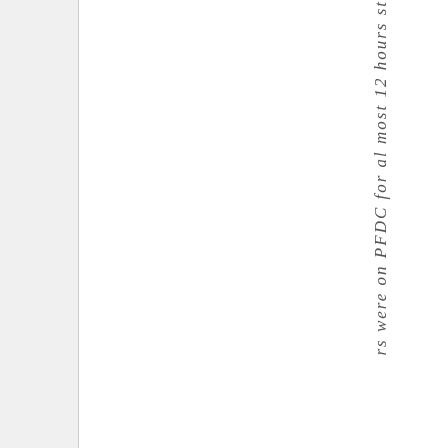rs were on PFDC for al most 12 hours st